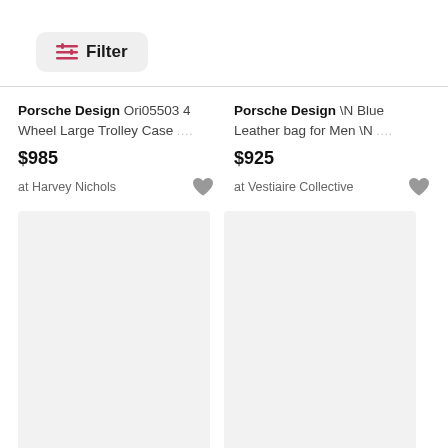[Figure (other): Filter button with slider icon]
Porsche Design Ori05503 4 Wheel Large Trolley Case .... $985 at Harvey Nichols
Porsche Design \N Blue Leather bag for Men \N .... $925 at Vestiaire Collective
[Figure (other): Product image placeholder (light grey box) left]
[Figure (other): Product image placeholder (light grey box) right]